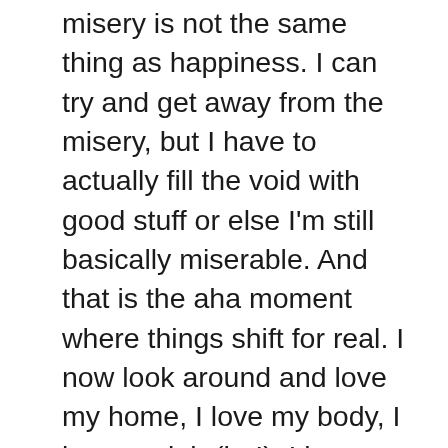misery is not the same thing as happiness. I can try and get away from the misery, but I have to actually fill the void with good stuff or else I'm still basically miserable. And that is the aha moment where things shift for real. I now look around and love my home, I love my body, I love my job (ha!), I love my friendships (and relationships), I love it all in its mixed up imperfections. I remember that the key is to MAKE MYSELF HAPPY. As in, "what do I want?" "what do I need?" and then listen and actually feel like I deserve it! Respond to my feelings and desires. That's self-love and that's what heals. I'm